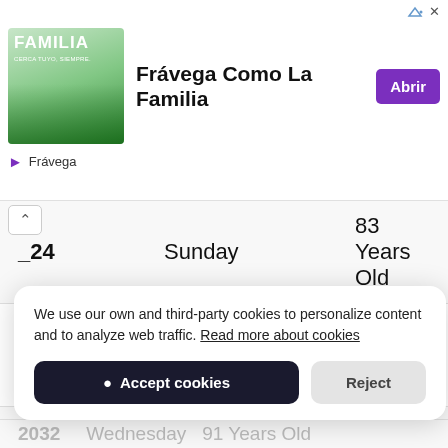[Figure (screenshot): Advertisement banner for Frávega Como La Familia with image of group of people, text 'Frávega Como La Familia', and purple 'Abrir' button]
| Year | Day | Age |
| --- | --- | --- |
| 2024 | Sunday | 83 Years Old |
| 2025 | Monday | 84 Years Old |
| 2026 | Tuesday | 85 Years Old |
| 2027 | Wednesday | 86 Years Old |
| 2028 | Friday | 87 Years Old |
| 2032 | Wednesday | 91 Years Old |
We use our own and third-party cookies to personalize content and to analyze web traffic. Read more about cookies
Accept cookies
Reject